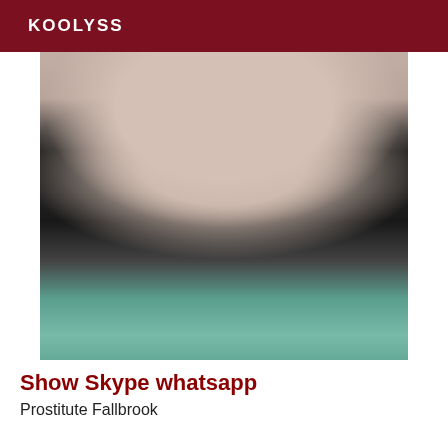KOOLYSS
[Figure (photo): Person wearing black lingerie and stockings, seated on a teal/mint furry surface]
Show Skype whatsapp
Prostitute Fallbrook